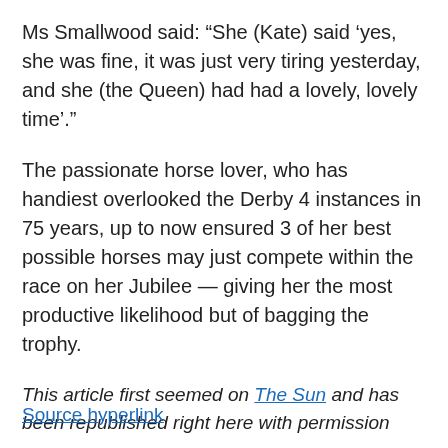Ms Smallwood said: “She (Kate) said ‘yes, she was fine, it was just very tiring yesterday, and she (the Queen) had had a lovely, lovely time’.”
The passionate horse lover, who has handiest overlooked the Derby 4 instances in 75 years, up to now ensured 3 of her best possible horses may just compete within the race on her Jubilee — giving her the most productive likelihood but of bagging the trophy.
This article first seemed on The Sun and has been republished right here with permission
Source hyperlink